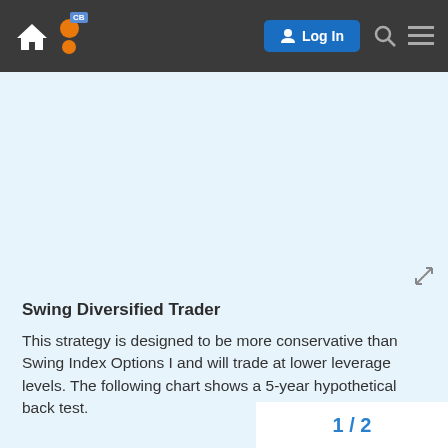Log In
[Figure (screenshot): Empty light blue image area placeholder with expand/maximize icon in bottom right corner]
Swing Diversified Trader
This strategy is designed to be more conservative than Swing Index Options I and will trade at lower leverage levels. The following chart shows a 5-year hypothetical back test.
1 / 2